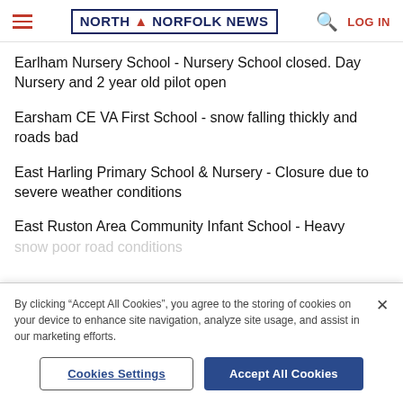NORTH NORFOLK NEWS | LOG IN
Earlham Nursery School - Nursery School closed. Day Nursery and 2 year old pilot open
Earsham CE VA First School - snow falling thickly and roads bad
East Harling Primary School & Nursery - Closure due to severe weather conditions
East Ruston Area Community Infant School - Heavy snow poor road conditions
By clicking “Accept All Cookies”, you agree to the storing of cookies on your device to enhance site navigation, analyze site usage, and assist in our marketing efforts.